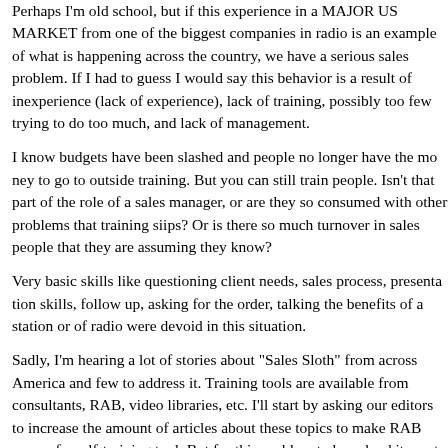Perhaps I'm old school, but if this experience in a MAJOR US MARKET from one of the biggest companies in radio is an example of what is happening across the country, we have a serious sales problem. If I had to guess I would say this behavior is a result of inexperience (lack of experience), lack of training, possibly too few trying to do too much, and lack of management.
I know budgets have been slashed and people no longer have the money to go to outside training. But you can still train people. Isn't that part of the role of a sales manager, or are they so consumed with other problems that training slips? Or is there so much turnover in sales people that they are assuming they know?
Very basic skills like questioning client needs, sales process, presentation skills, follow up, asking for the order, talking the benefits of a station or of radio were devoid in this situation.
Sadly, I'm hearing a lot of stories about "Sales Sloth" from across America and few to address it. Training tools are available from consultants, RAB, video libraries, etc. I'll start by asking our editors to increase the amount of articles about these topics to make RAB more of a self-training tool. But for this problem to be solved it must be taken on by corporate, regional management, and local management.
Had I not already been convinced of the power of radio, and had I been a new advertiser in the benefits of radio, I'm not sure I would have ever been sold the solution. I would have had to work too hard to figure things out on my own and to buy. If radio is to be bought.